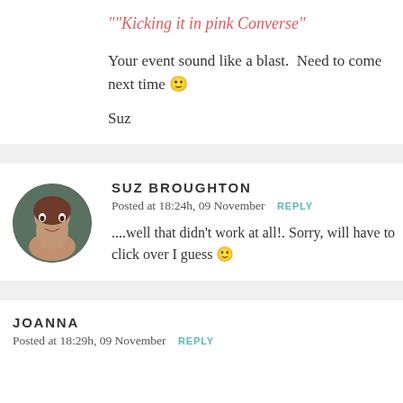""Kicking it in pink Converse"
Your event sound like a blast.  Need to come next time 🙂
Suz
SUZ BROUGHTON
Posted at 18:24h, 09 November  REPLY
....well that didn't work at all!. Sorry, will have to click over I guess 🙂
JOANNA
Posted at 18:29h, 09 November  REPLY